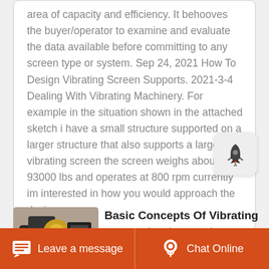area of capacity and efficiency. It behooves the buyer/operator to examine and evaluate the data available before committing to any screen type or system. Sep 24, 2021 How To Design Vibrating Screen Supports. 2021-3-4 Dealing With Vibrating Machinery. For example in the situation shown in the attached sketch i have a small structure supported on a larger structure that also supports a large vibrating screen the screen weighs about 93000 lbs and operates at 800 rpm currently im interested in how you would approach the design
[Figure (photo): Thumbnail image of vibrating screen machinery equipment]
Basic Concepts Of Vibrating Screens What They Are What...
Leave a message   Chat Online